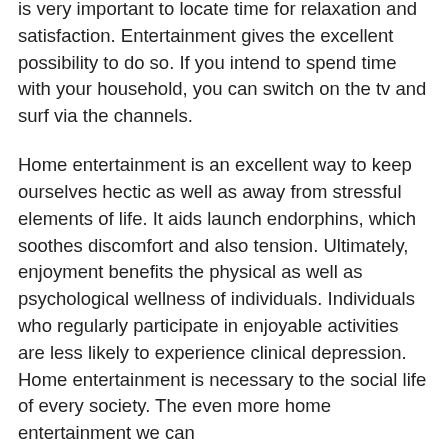is very important to locate time for relaxation and satisfaction. Entertainment gives the excellent possibility to do so. If you intend to spend time with your household, you can switch on the tv and surf via the channels.
Home entertainment is an excellent way to keep ourselves hectic as well as away from stressful elements of life. It aids launch endorphins, which soothes discomfort and also tension. Ultimately, enjoyment benefits the physical as well as psychological wellness of individuals. Individuals who regularly participate in enjoyable activities are less likely to experience clinical depression. Home entertainment is necessary to the social life of every society. The even more home entertainment we can